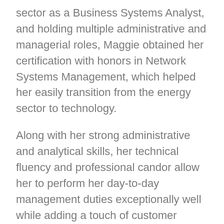sector as a Business Systems Analyst, and holding multiple administrative and managerial roles, Maggie obtained her certification with honors in Network Systems Management, which helped her easily transition from the energy sector to technology.
Along with her strong administrative and analytical skills, her technical fluency and professional candor allow her to perform her day-to-day management duties exceptionally well while adding a touch of customer service that is rare to find today.
As our Office Manager, we consider Maggie the “quarter-back” of our company. She oversees all our day-to-day administrative and internal operations, while assisting our clients with any direction or